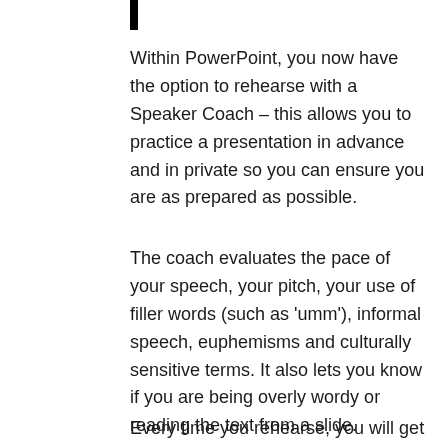Within PowerPoint, you now have the option to rehearse with a Speaker Coach – this allows you to practice a presentation in advance and in private so you can ensure you are as prepared as possible.
The coach evaluates the pace of your speech, your pitch, your use of filler words (such as 'umm'), informal speech, euphemisms and culturally sensitive terms. It also lets you know if you are being overly wordy or reading the text from a slide.
Every time you rehearse, you will get a report